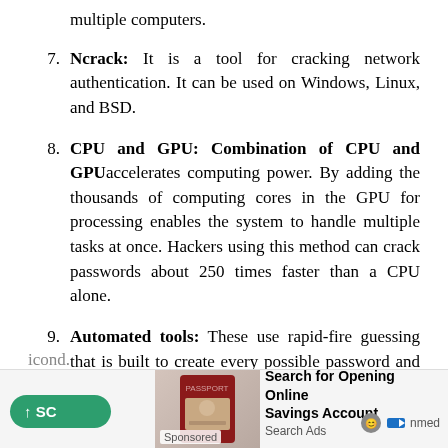multiple computers.
7. Ncrack: It is a tool for cracking network authentication. It can be used on Windows, Linux, and BSD.
8. CPU and GPU: Combination of CPU and GPU accelerates computing power. By adding the thousands of computing cores in the GPU for processing enables the system to handle multiple tasks at once. Hackers using this method can crack passwords about 250 times faster than a CPU alone.
9. Automated tools: These use rapid-fire guessing that is built to create every possible password and attempt to use them. Brute force hacking software can find a single [second].
[Figure (other): Advertisement bar at the bottom: green scroll-up button on left, passport image in center-left with Sponsored label, ad text 'Search for Opening Online Savings Account / Search Ads' on right, with logo icons.]